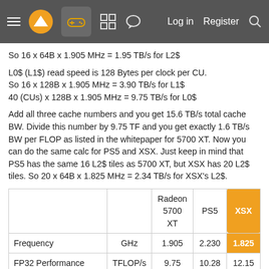Navigation bar with hamburger menu, logo, gamepad icon, grid icon, chat icon, Log in, Register, Search
So 16 x 64B x 1.905 MHz = 1.95 TB/s for L2$
L0$ (L1$) read speed is 128 Bytes per clock per CU.
So 16 x 128B x 1.905 MHz = 3.90 TB/s for L1$
40 (CUs) x 128B x 1.905 MHz = 9.75 TB/s for L0$
Add all three cache numbers and you get 15.6 TB/s total cache BW. Divide this number by 9.75 TF and you get exactly 1.6 TB/s BW per FLOP as listed in the whitepaper for 5700 XT. Now you can do the same calc for PS5 and XSX. Just keep in mind that PS5 has the same 16 L2$ tiles as 5700 XT, but XSX has 20 L2$ tiles. So 20 x 64B x 1.825 MHz = 2.34 TB/s for XSX's L2$.
|  |  | Radeon 5700 XT | PS5 | XSX |
| --- | --- | --- | --- | --- |
| Frequency | GHz | 1.905 | 2.230 | 1.825 |
| FP32 Performance | TFLOP/s | 9.75 | 10.28 | 12.15 |